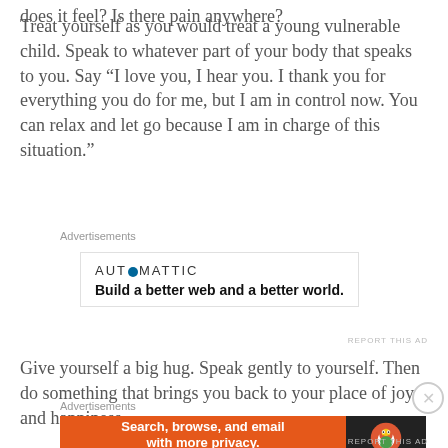does it feel? Is there pain anywhere?
Treat yourself as you would treat a young vulnerable child. Speak to whatever part of your body that speaks to you. Say “I love you, I hear you. I thank you for everything you do for me, but I am in control now. You can relax and let go because I am in charge of this situation.”
Advertisements
[Figure (other): Automattic advertisement: logo text 'AUT⊙MATTIC' with tagline 'Build a better web and a better world.']
REPORT THIS AD
Give yourself a big hug. Speak gently to yourself. Then do something that brings you back to your place of joy and happiness.
Advertisements
[Figure (other): DuckDuckGo advertisement: orange left panel with 'Search, browse, and email with more privacy. All in One Free App' and dark right panel with DuckDuckGo logo and name.]
REPORT THIS AD